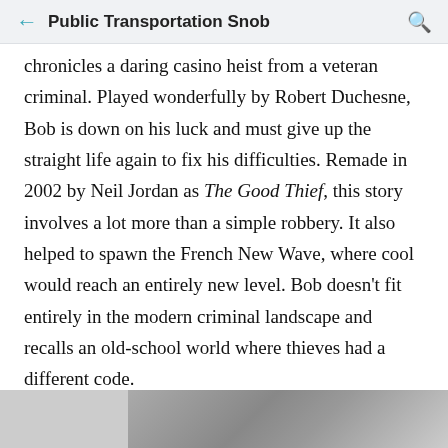Public Transportation Snob
chronicles a daring casino heist from a veteran criminal. Played wonderfully by Robert Duchesne, Bob is down on his luck and must give up the straight life again to fix his difficulties. Remade in 2002 by Neil Jordan as The Good Thief, this story involves a lot more than a simple robbery. It also helped to spawn the French New Wave, where cool would reach an entirely new level. Bob doesn't fit entirely in the modern criminal landscape and recalls an old-school world where thieves had a different code.
[Figure (photo): Partial image visible at bottom of page, appears to be a screenshot or photo strip]